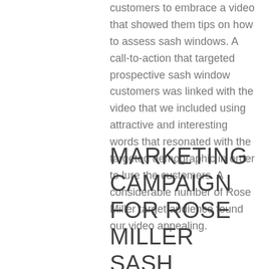customers to embrace a video that showed them tips on how to assess sash windows. A call-to-action that targeted prospective sash window customers was linked with the video that we included using attractive and interesting words that resonated with the targeted demographic in order to lure the customers. A considerable number of Rose Miller target audience found our video appealing.
MARKETING CAMPAIGN FOR ROSE MILLER SASH WINDOWS IN LOWESTOFT